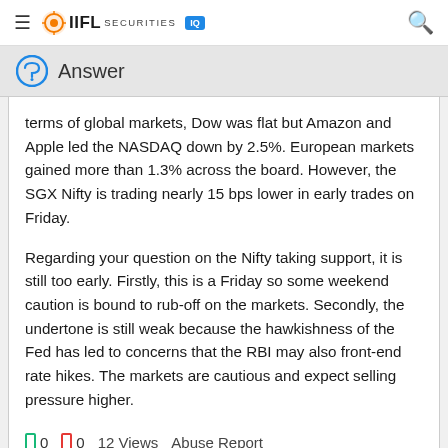IIFL Securities IQ
Answer
terms of global markets, Dow was flat but Amazon and Apple led the NASDAQ down by 2.5%. European markets gained more than 1.3% across the board. However, the SGX Nifty is trading nearly 15 bps lower in early trades on Friday.
Regarding your question on the Nifty taking support, it is still too early. Firstly, this is a Friday so some weekend caution is bound to rub-off on the markets. Secondly, the undertone is still weak because the hawkishness of the Fed has led to concerns that the RBI may also front-end rate hikes. The markets are cautious and expect selling pressure higher.
0  0  12 Views  Abuse Report